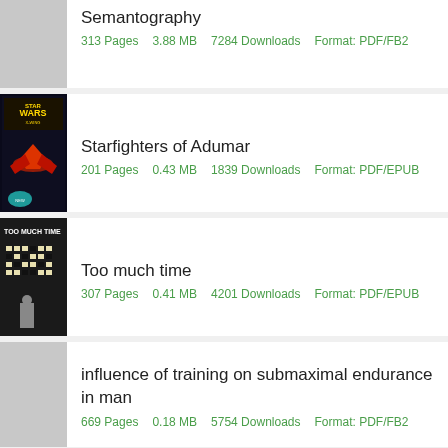Semantography
313 Pages    3.88 MB    7284 Downloads    Format: PDF/FB2
[Figure (illustration): Star Wars X-Wing book cover for Starfighters of Adumar]
Starfighters of Adumar
201 Pages    0.43 MB    1839 Downloads    Format: PDF/EPUB
[Figure (photo): Too Much Time book cover - dark cover with grid of windows]
Too much time
307 Pages    0.41 MB    4201 Downloads    Format: PDF/EPUB
[Figure (illustration): Grey placeholder book cover]
influence of training on submaximal endurance in man
669 Pages    0.18 MB    5754 Downloads    Format: PDF/FB2